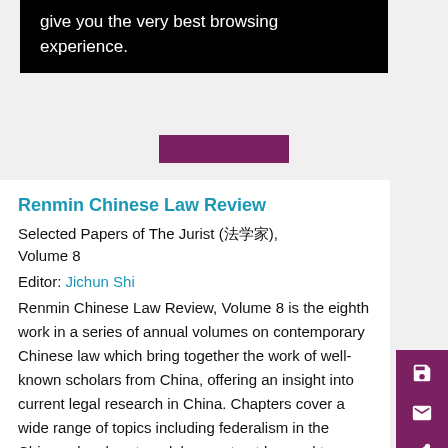give you the very best browsing experience.
Renmin Chinese Law Review
Selected Papers of The Jurist (法学家), Volume 8
Editor: Jichun Shi
Renmin Chinese Law Review, Volume 8 is the eighth work in a series of annual volumes on contemporary Chinese law which bring together the work of well-known scholars from China, offering an insight into current legal research in China. Chapters cover a wide range of topics including federalism in the Chinese legal system, labor contract law and t
... Show More